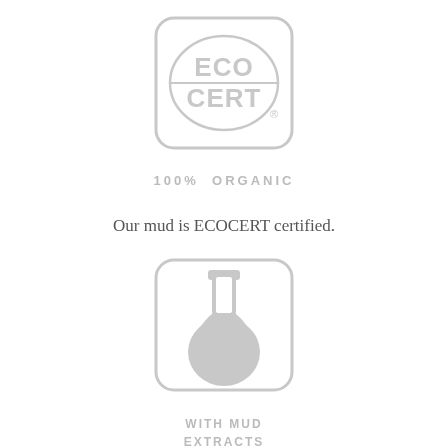[Figure (logo): ECOCERT certification logo: rounded square border containing an oval with ECO on top line and CERT on bottom line, with registered trademark symbol. Light gray color.]
100%  ORGANIC
Our mud is ECOCERT certified.
[Figure (logo): Rounded square icon containing a laboratory flask/beaker silhouette in light gray.]
WITH MUD
EXTRACTS
All our products contain 100% natural freshwater green mud extract.